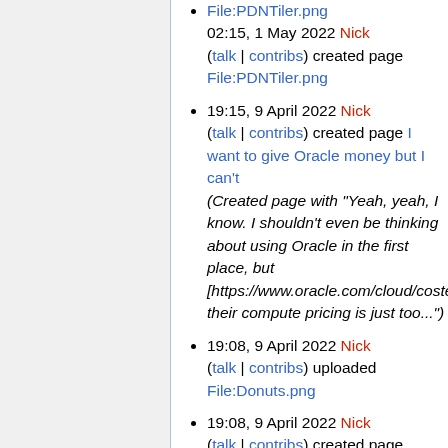02:15, 1 May 2022 Nick (talk | contribs) created page File:PDNTiler.png
19:15, 9 April 2022 Nick (talk | contribs) created page I want to give Oracle money but I can't (Created page with "Yeah, yeah, I know. I shouldn't even be thinking about using Oracle in the first place, but [https://www.oracle.com/cloud/costestim... their compute pricing is just too...")
19:08, 9 April 2022 Nick (talk | contribs) uploaded File:Donuts.png
19:08, 9 April 2022 Nick (talk | contribs) created page File:Donuts.png
19:06, 9 April 2022 Nick